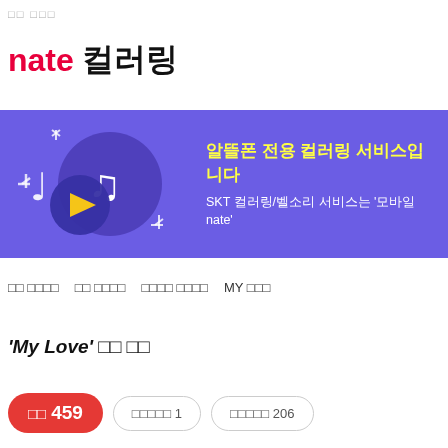□□ □□□
nate 컬러링
[Figure (infographic): Purple banner advertisement for 알뜰폰 전용 컬러링 서비스 with music note icons and play button on left, text on right]
알뜰폰 전용 컬러링 서비스입니다
SKT 컬러링/벨소리 서비스는 '모바일 nate'
□□ □□□□   □□ □□□□   □□□□ □□□□   MY □□□
'My Love' □□ □□
□□ 459   □□□□□ 1   □□□□□ 206